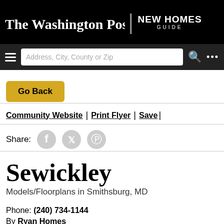The Washington Post | NEW HOMES GUIDE
Address, City, County or Zip
Go Back
Community Website | Print Flyer | Save
Share:
Sewickley
Models/Floorplans in Smithsburg, MD
Phone: (240) 734-1144
By Ryan Homes